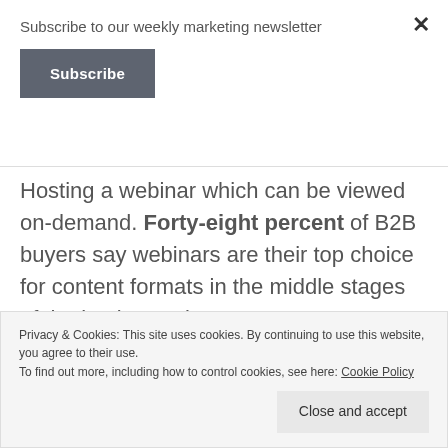Subscribe to our weekly marketing newsletter
Subscribe
Hosting a webinar which can be viewed on-demand. Forty-eight percent of B2B buyers say webinars are their top choice for content formats in the middle stages of the buying cycle.
5  Templates
Privacy & Cookies: This site uses cookies. By continuing to use this website, you agree to their use.
To find out more, including how to control cookies, see here: Cookie Policy
Close and accept